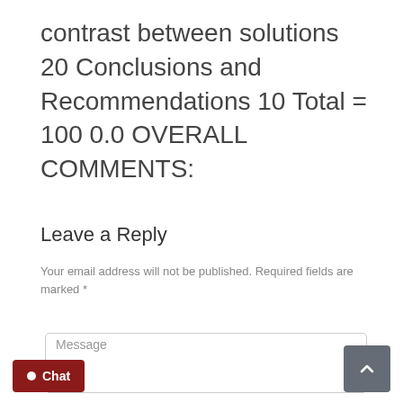contrast between solutions 20 Conclusions and Recommendations 10 Total = 100 0.0 OVERALL COMMENTS:
Leave a Reply
Your email address will not be published. Required fields are marked *
Message